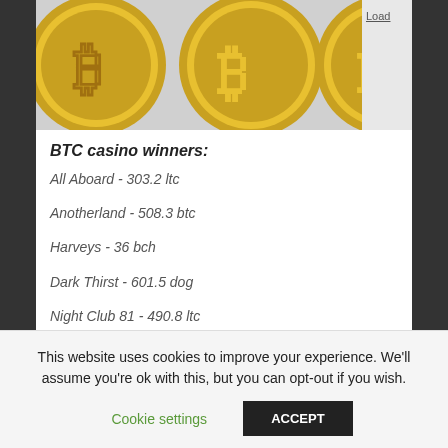[Figure (photo): Bitcoin gold coins displayed at the top of the page, partially cropped]
BTC casino winners:
All Aboard - 303.2 ltc
Anotherland - 508.3 btc
Harveys - 36 bch
Dark Thirst - 601.5 dog
Night Club 81 - 490.8 ltc
Fort Brave - 198 btc
Lantern Festival - 233.3 ltc
This website uses cookies to improve your experience. We'll assume you're ok with this, but you can opt-out if you wish.
Cookie settings | ACCEPT